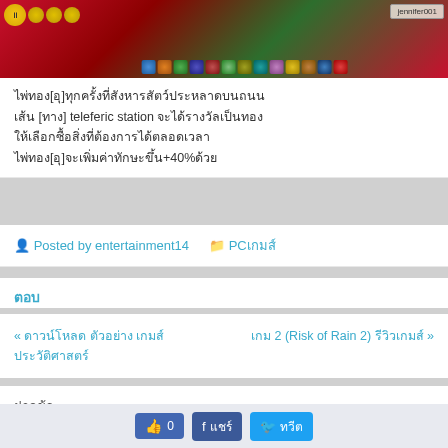[Figure (screenshot): Game screenshot showing a strategy game UI with pause button, gold coins, and various game icons along the bottom, with decorative red and green game background]
ไพ่ทอง[อุ]ทุกครั้งที่สังหารสัตว์ประหลาดบนถนน
เส้น [ทาง] teleferic station จะได้รางวัลเป็นทอง
ให้เลือกซื้อสิ่งที่ต้องการได้ตลอดเวลา
ไพ่ทอง[อุ]จะเพิ่มค่าทักษะขึ้น+40%ด้วย
Posted by entertainment14
PCเกมส์
ตอบ
« ดาวน์โหลด ตัวอย่าง เกมส์ประวัติศาสตร์
เกม 2 (Risk of Rain 2) รีวิวเกมส์ »
ฝากข้อ
ถูกใจ 0
แชร์
ทวีต